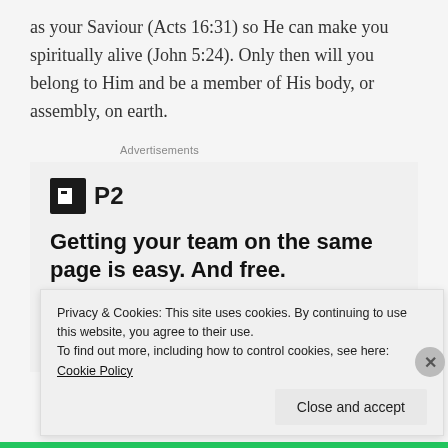as your Saviour (Acts 16:31) so He can make you spiritually alive (John 5:24). Only then will you belong to Him and be a member of His body, or assembly, on earth.
Advertisements
[Figure (logo): P2 app logo with dark square icon and bold 'P2' text]
Getting your team on the same page is easy. And free.
[Figure (photo): Four circular avatar photos of people, the last one blue with a plus icon]
Privacy & Cookies: This site uses cookies. By continuing to use this website, you agree to their use.
To find out more, including how to control cookies, see here: Cookie Policy
Close and accept